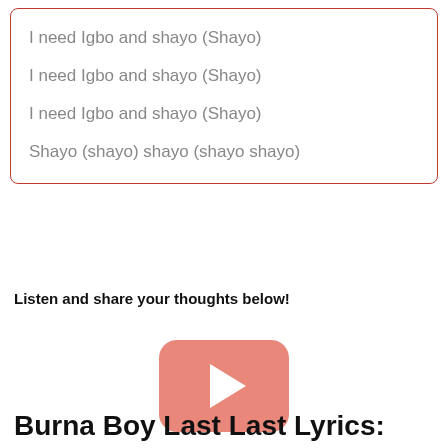I need Igbo and shayo (Shayo)
I need Igbo and shayo (Shayo)
I need Igbo and shayo (Shayo)
Shayo (shayo) shayo (shayo shayo)
Listen and share your thoughts below!
[Figure (other): YouTube play button icon — rounded rectangle in salmon/pink color with white play triangle]
Burna Boy Last Last Lyrics: